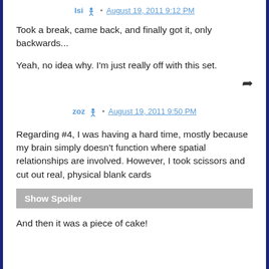Isi · August 19, 2011 9:12 PM
Took a break, came back, and finally got it, only backwards...
Yeah, no idea why. I'm just really off with this set.
zoz · August 19, 2011 9:50 PM
Regarding #4, I was having a hard time, mostly because my brain simply doesn't function where spatial relationships are involved. However, I took scissors and cut out real, physical blank cards
Show Spoiler
And then it was a piece of cake!